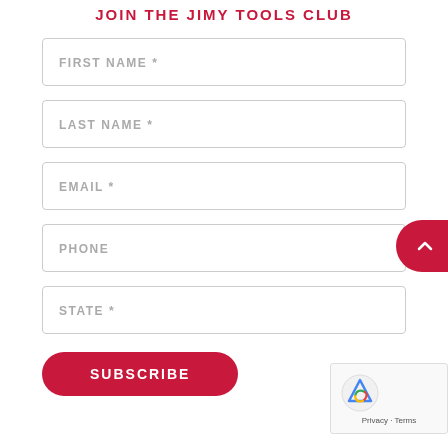JOIN THE JIMY TOOLS CLUB
FIRST NAME *
LAST NAME *
EMAIL *
PHONE
STATE *
SUBSCRIBE